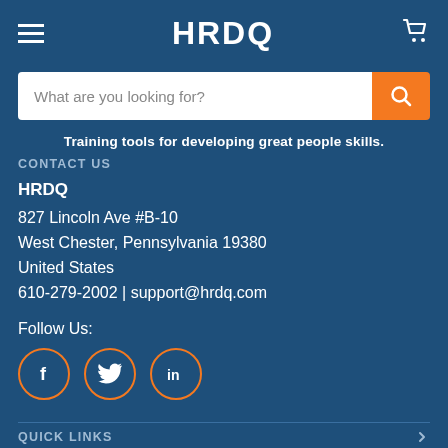HRDQ
What are you looking for?
Training tools for developing great people skills.
CONTACT US
HRDQ
827 Lincoln Ave #B-10
West Chester, Pennsylvania 19380
United States
610-279-2002 | support@hrdq.com
Follow Us:
[Figure (illustration): Three social media icons in orange circles: Facebook (f), Twitter (bird), LinkedIn (in)]
QUICK LINKS